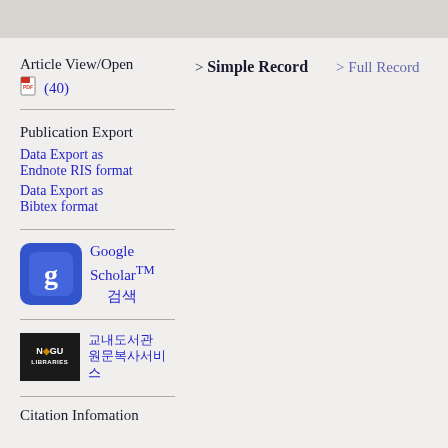Article View/Open
(40)
> Simple Record
> Full Record
Publication Export
Data Export as Endnote RIS format
Data Export as Bibtex format
[Figure (logo): Google Scholar logo - blue square with stylized 'g' letter]
Google Scholar™ 검색
[Figure (logo): NCCU Libraries logo - black rectangle with white text]
교내도서관 원문복사서비스
Citation Infomation